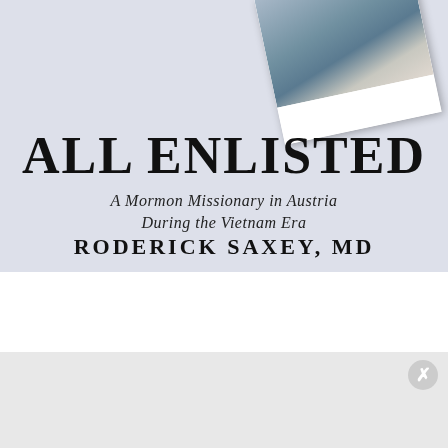[Figure (illustration): Book cover for 'All Enlisted: A Mormon Missionary in Austria During the Vietnam Era' by Roderick Saxey, MD. Light blue-gray background with a polaroid-style photo in upper right corner showing a snowy city scene. Large bold title text 'ALL ENLISTED' with subtitle and author name.]
Advertisements
[Figure (logo): Automattic logo with circular icon and tagline 'Build a better web and a better world.']
Build a better web and a better world.
Advertisements
[Figure (infographic): Jetpack advertisement banner in green with Jetpack logo on left and 'Back up your site' button on right.]